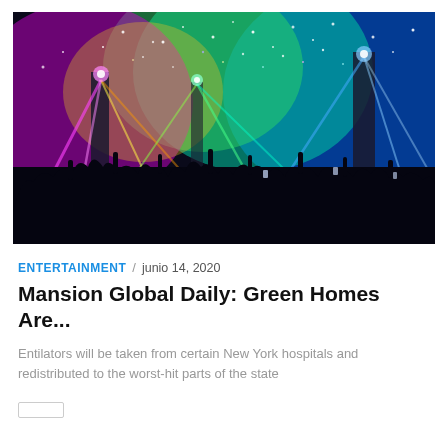[Figure (photo): Concert stage with colorful lights — green, blue, pink, yellow — and confetti/sparks in the air, with a crowd of silhouetted people in the foreground with raised hands]
ENTERTAINMENT / junio 14, 2020
Mansion Global Daily: Green Homes Are...
Entilators will be taken from certain New York hospitals and redistributed to the worst-hit parts of the state